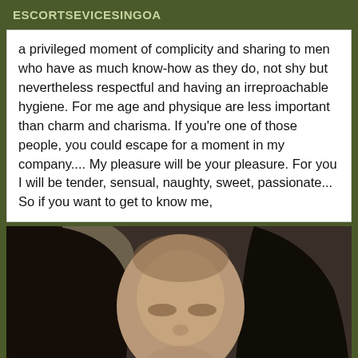ESCORTSEVICESINGOA
a privileged moment of complicity and sharing to men who have as much know-how as they do, not shy but nevertheless respectful and having an irreproachable hygiene. For me age and physique are less important than charm and charisma. If you're one of those people, you could escape for a moment in my company.... My pleasure will be your pleasure. For you I will be tender, sensual, naughty, sweet, passionate... So if you want to get to know me,
[Figure (photo): A woman with long dark hair wearing a dark shirt and necklace, photographed indoors in dim lighting]